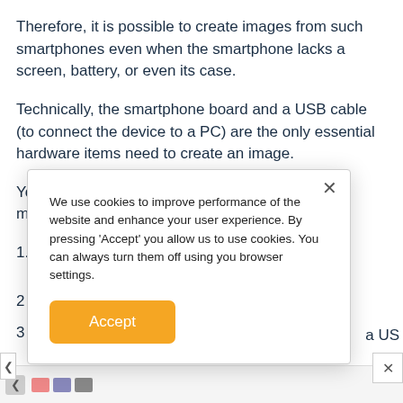Therefore, it is possible to create images from such smartphones even when the smartphone lacks a screen, battery, or even its case.
Technically, the smartphone board and a USB cable (to connect the device to a PC) are the only essential hardware items need to create an image.
You can confirm the presence of the PreLoader module on MediaTek smartphone this way:
1. Open the Device Manager app on a PC.
2
3
[Figure (screenshot): Cookie consent popup overlay with text: 'We use cookies to improve performance of the website and enhance your user experience. By pressing Accept you allow us to use cookies. You can always turn them off using you browser settings.' and an orange Accept button.]